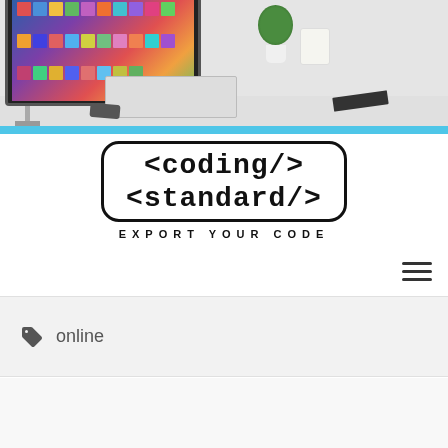[Figure (photo): Photo of a computer workstation desk with an iMac-style monitor showing a colorful screen, keyboard, mouse, plant, white mug, dark notebook, and smartphone on a white desk surface against a light gray background.]
[Figure (logo): Logo for 'coding standard' website showing text '<coding/> <standard/>' inside a rounded rectangle border, with tagline 'EXPORT YOUR CODE' below.]
online